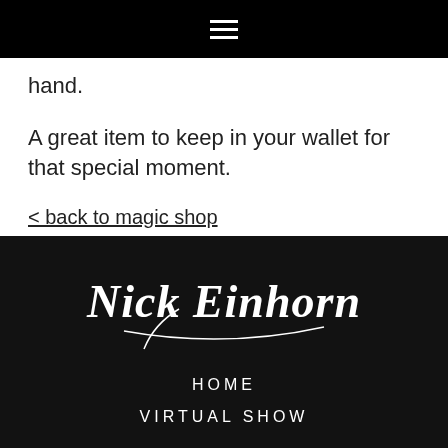[Nick Einhorn script logo / hamburger menu]
hand.
A great item to keep in your wallet for that special moment.
< back to magic shop
[Figure (logo): Nick Einhorn script logo in white on dark background with background crowd image]
HOME
VIRTUAL SHOW